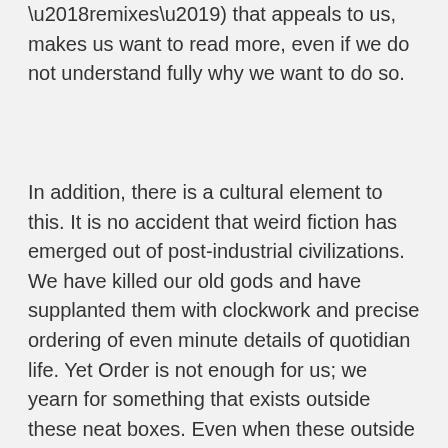'remixes') that appeals to us, makes us want to read more, even if we do not understand fully why we want to do so.
In addition, there is a cultural element to this. It is no accident that weird fiction has emerged out of post-industrial civilizations. We have killed our old gods and have supplanted them with clockwork and precise ordering of even minute details of quotidian life. Yet Order is not enough for us; we yearn for something that exists outside these neat boxes. Even when these outside forces feel threatening to us, we sense a need for such chaotic elements, albeit kept at a safe remove in the fictional realms rather than our “progressive” societies. Weird tales evoke alternate perceptions of the world. They challenge our concepts of the world around us and for that, they spark strong emotions. We may, like obscenity, not be able to define it precisely, but we certainly “know” it when